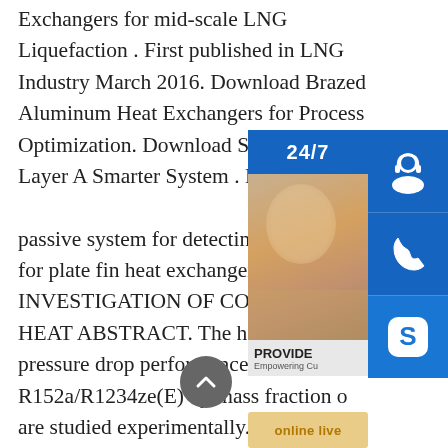Exchangers for mid-scale LNG Liquefaction . First published in LNG Industry March 2016. Download Brazed Aluminum Heat Exchangers for Process Optimization. Download S... Layer A Smarter System . Explaining ... passive system for detecting end of se... for plate fin heat exchangers. EXPERI... INVESTIGATION OF CONDENSAT... HEAT ABSTRACT. The heat transfer ... pressure drop performances of R152a/R1234ze(E) by mass fraction o... are studied experimentally. Experimen... carried out at mass flux between 173 to 462... kg·m-2 ·s-1, heat flux between 5 to 10 kW·m-2, saturation temperature between 30 to 40°C, and mean vapor quality between 0.16 to 0.93 in a smooth horizontal tube with an inner diameter of 4.0 mm.
[Figure (photo): Customer support overlay with 24/7 banner, headset operator photo, phone icon, Skype icon, and online live button]